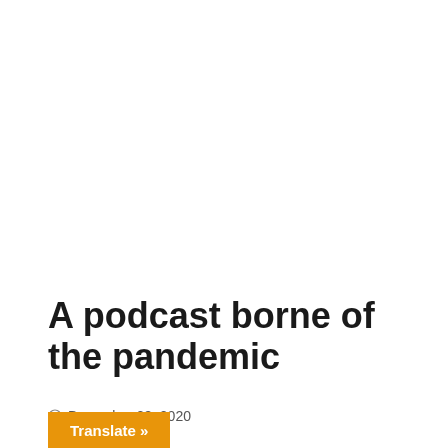A podcast borne of the pandemic
December 28, 2020